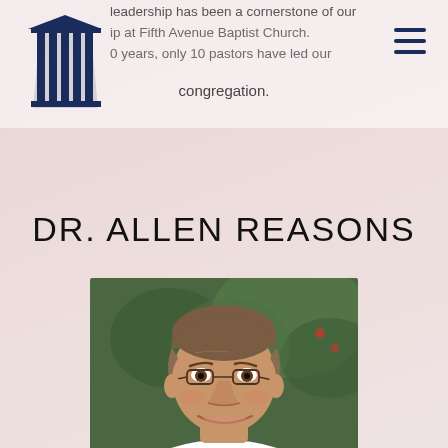[Figure (logo): Church columns/pillars logo for Fifth Avenue Baptist Church]
leadership has been a cornerstone of our worship at Fifth Avenue Baptist Church. Over 0 years, only 10 pastors have led our congregation.
DR. ALLEN REASONS
[Figure (photo): Portrait photo of Dr. Allen Reasons, a middle-aged man with glasses, brown hair, smiling, wearing a white shirt, with green foliage in background]